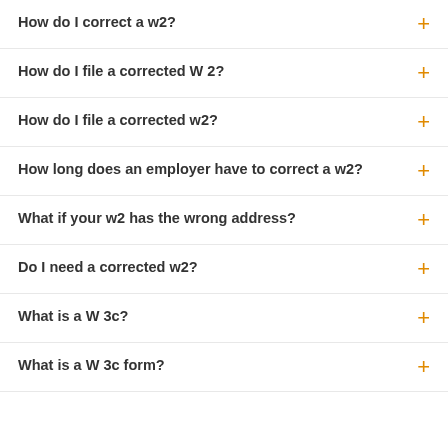How do I correct a w2?
How do I file a corrected W 2?
How do I file a corrected w2?
How long does an employer have to correct a w2?
What if your w2 has the wrong address?
Do I need a corrected w2?
What is a W 3c?
What is a W 3c form?